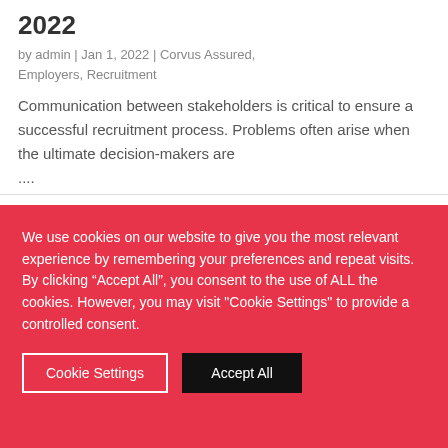2022
by admin | Jan 1, 2022 | Corvus Assured, Employers, Recruitment
Communication between stakeholders is critical to ensure a successful recruitment process. Problems often arise when the ultimate decision-makers are ....
We use cookies on our website to give you the most relevant experience by remembering your preferences and repeat visits. By clicking “Accept All”, you consent to the use of ALL the cookies. However, you may visit "Cookie Settings" to provide a controlled consent.